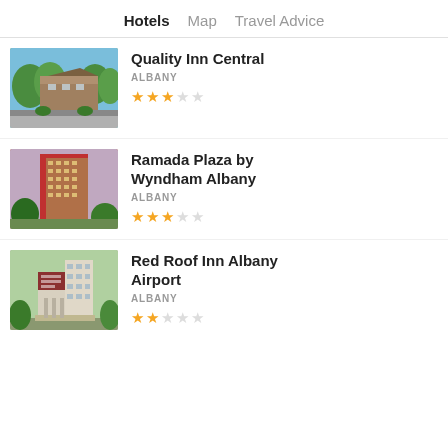Hotels  Map  Travel Advice
Quality Inn Central
ALBANY
[Figure (photo): Exterior photo of Quality Inn Central hotel with green trees and parking area]
Ramada Plaza by Wyndham Albany
ALBANY
[Figure (photo): Exterior photo of Ramada Plaza by Wyndham Albany, a tall brick hotel building]
Red Roof Inn Albany Airport
ALBANY
[Figure (photo): Exterior photo of Red Roof Inn Albany Airport with red sign and green trees]